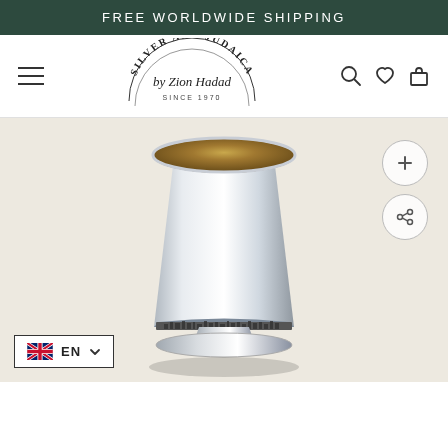FREE WORLDWIDE SHIPPING
[Figure (logo): Silver and Judaica by Zion Hadad Since 1970 circular logo with arched text]
[Figure (photo): A polished silver Kiddush cup with gold interior, ornate base with Jerusalem cityscape engraving, photographed against a warm off-white background]
EN